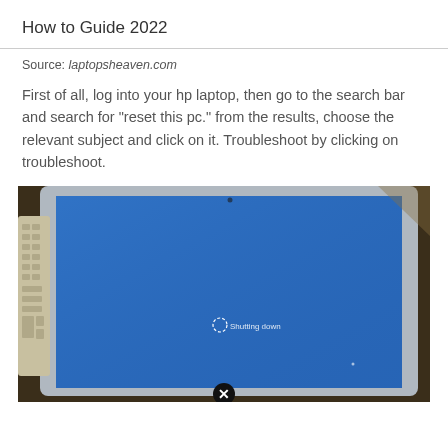How to Guide 2022
Source: laptopsheaven.com
First of all, log into your hp laptop, then go to the search bar and search for "reset this pc." from the results, choose the relevant subject and click on it. Troubleshoot by clicking on troubleshoot.
[Figure (photo): A photo of an HP laptop with a blue screen showing 'Shutting down' text, with a keyboard visible to the left. A close button (X) icon appears at the bottom center of the image.]